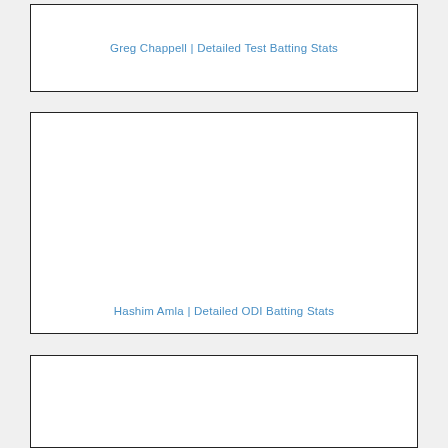Greg Chappell | Detailed Test Batting Stats
[Figure (other): Empty white card placeholder for Greg Chappell Detailed Test Batting Stats chart]
Hashim Amla | Detailed ODI Batting Stats
[Figure (other): Empty white card placeholder for Hashim Amla Detailed ODI Batting Stats chart]
[Figure (other): Empty white card placeholder, third card, partially visible]